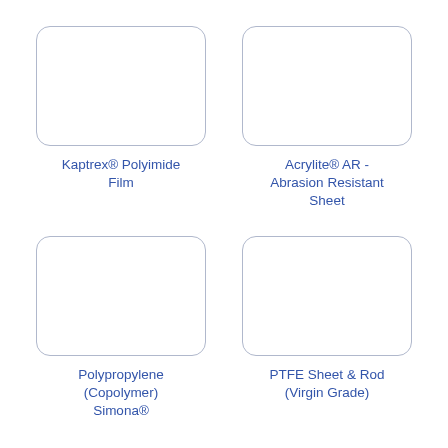[Figure (illustration): Empty rounded rectangle card placeholder for Kaptrex Polyimide Film product]
Kaptrex® Polyimide Film
[Figure (illustration): Empty rounded rectangle card placeholder for Acrylite AR Abrasion Resistant Sheet product]
Acrylite® AR - Abrasion Resistant Sheet
[Figure (illustration): Empty rounded rectangle card placeholder for Polypropylene Copolymer Simona product]
Polypropylene (Copolymer) Simona®
[Figure (illustration): Empty rounded rectangle card placeholder for PTFE Sheet and Rod Virgin Grade product]
PTFE Sheet & Rod (Virgin Grade)